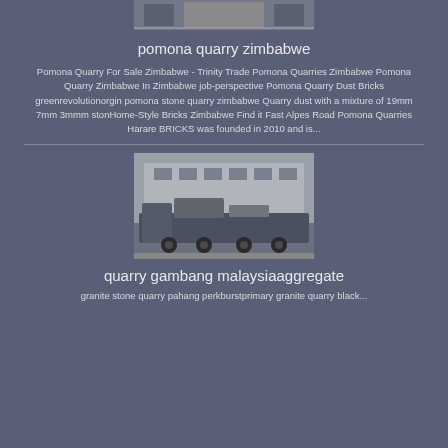[Figure (photo): Top image showing quarry or industrial equipment/facility, partially visible at the top of the page]
pomona quarry zimbabwe
Pomona Quarry For Sale Zimbabwe - Trinity Trade Pomona Quarries Zimbabwe Pomona Quarry Zimbabwe In Zimbabwe job-perspective Pomona Quarry Dust Bricks greenrevolutionorgin pomona stone quarry zimbabwe Quarry dust with a mixture of 19mm 7mm 3mmm stonHome-Style Bricks Zimbabwe Find it Fast Alpes Road Pomona Quarries Harare BRICKS was founded in 2010 and is...
[Figure (photo): Image of a large truck or heavy machinery at a quarry or industrial site with a building in the background]
quarry gambang malaysiaaggregate
granite stone quarry pahang perkburstprimary granite quarry black...